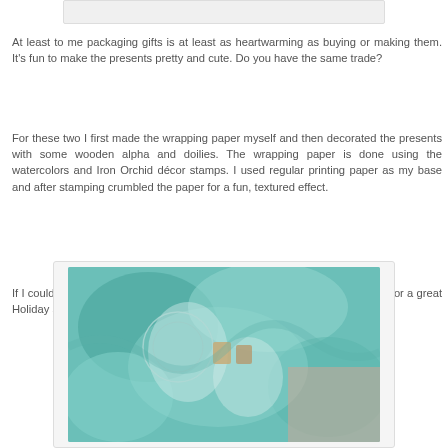[Figure (photo): Partial view of a wrapped gift with teal/green watercolor wrapping paper, top edge visible]
At least to me packaging gifts is at least as heartwarming as buying or making them. It's fun to make the presents pretty and cute. Do you have the same trade?
For these two I first made the wrapping paper myself and then decorated the presents with some wooden alpha and doilies. The wrapping paper is done using the watercolors and Iron Orchid décor stamps. I used regular printing paper as my base and after stamping crumbled the paper for a fun, textured effect.
If I could wrap you all a present it would be filled with love, hugs and wishes for a great Holiday season and fantastic new year! Thank you for stopping by today!
[Figure (photo): A wrapped gift with teal/mint watercolor wrapping paper decorated with silver stamped designs and doilies, wooden alpha letters visible]